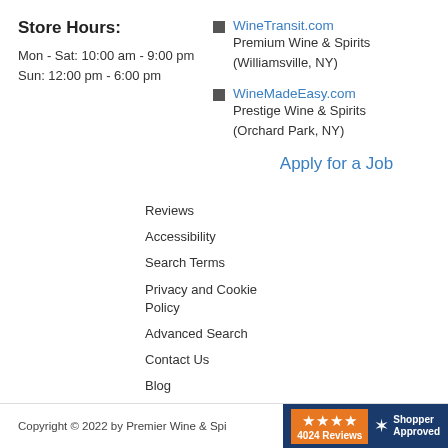Store Hours:
Mon - Sat: 10:00 am - 9:00 pm
Sun: 12:00 pm - 6:00 pm
WineTransit.com — Premium Wine & Spirits (Williamsville, NY)
WineMadeEasy.com — Prestige Wine & Spirits (Orchard Park, NY)
Apply for a Job
Reviews
Accessibility
Search Terms
Privacy and Cookie Policy
Advanced Search
Contact Us
Blog
Copyright © 2022 by Premier Wine & Spi...  ★★★★ 4024 Reviews Shopper Approved